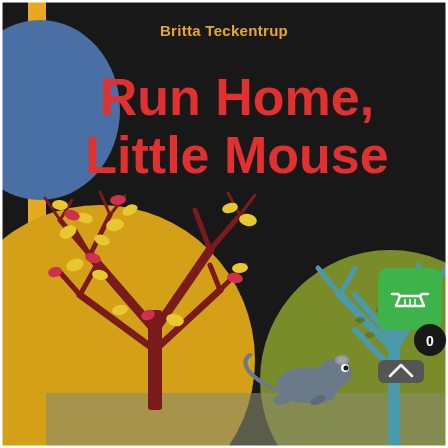[Figure (illustration): Book cover of 'Run Home, Little Mouse' by Britta Teckentrup. Black background with a large gold/yellow circle on lower-left containing a stylized bare tree with dark red branches and scattered yellow and red leaves. A smaller olive-green circle on lower-right with a teal bare tree. A blue circle upper-left. A small grey mouse running across the bottom center. A yellow vertical bar along the left edge. Author name in gold at top center. Title in bold red text in upper-center area. A green shopping basket UI button overlaid on the right edge.]
Britta Teckentrup
Run Home, Little Mouse